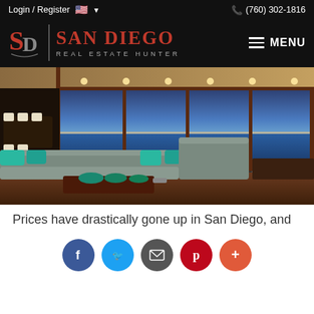Login / Register  🇺🇸 ▾   📞 (760) 302-1816
[Figure (logo): San Diego Real Estate Hunter logo with SD monogram, red text, and hamburger menu]
[Figure (photo): Luxury condo interior with large sectional sofa in teal/gray, floor-to-ceiling windows overlooking ocean at dusk]
Prices have drastically gone up in San Diego, and
[Figure (infographic): Social sharing buttons: Facebook, Twitter, Email, Pinterest, More (+)]